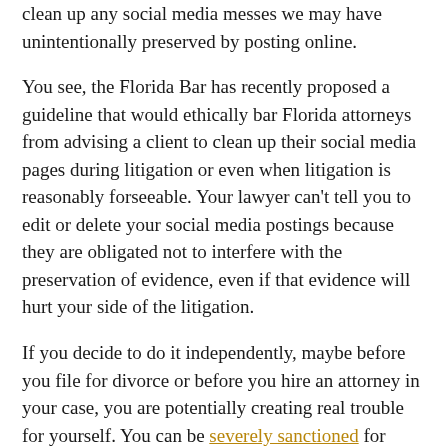clean up any social media messes we may have unintentionally preserved by posting online.
You see, the Florida Bar has recently proposed a guideline that would ethically bar Florida attorneys from advising a client to clean up their social media pages during litigation or even when litigation is reasonably forseeable. Your lawyer can't tell you to edit or delete your social media postings because they are obligated not to interfere with the preservation of evidence, even if that evidence will hurt your side of the litigation.
If you decide to do it independently, maybe before you file for divorce or before you hire an attorney in your case, you are potentially creating real trouble for yourself. You can be severely sanctioned for spoliation of evidence if you have deactivated your social media accounts, edited them to remove materials, or deleted them when the accounts contain material relevant to reasonably foreseeable litigation.  Don't do